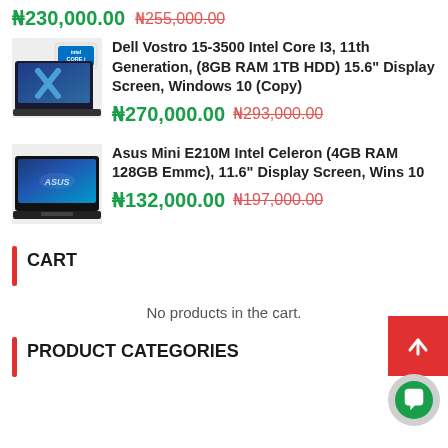₦230,000.00  ₦255,000.00 (strikethrough)
[Figure (photo): Dell Vostro laptop with Intel Core i3 badge]
Dell Vostro 15-3500 Intel Core I3, 11th Generation, (8GB RAM 1TB HDD) 15.6" Display Screen, Windows 10 (Copy)
₦270,000.00  ₦293,000.00
[Figure (photo): Asus Mini E210M laptop product image]
Asus Mini E210M Intel Celeron (4GB RAM 128GB Emmc), 11.6" Display Screen, Wins 10
₦132,000.00  ₦197,000.00
CART
No products in the cart.
PRODUCT CATEGORIES